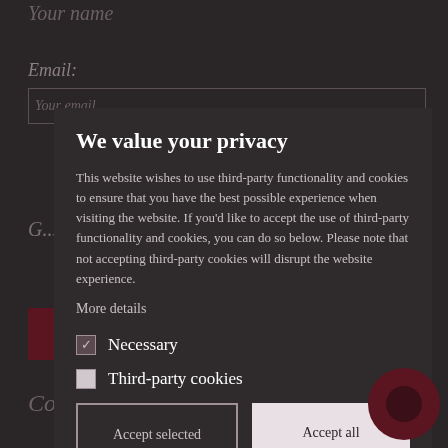Your name
Email:
Your email
G...
We value your privacy
This website wishes to use third-party functionality and cookies to ensure that you have the best possible experience when visiting the website. If you'd like to accept the use of third-party functionality and cookies, you can do so below. Please note that not accepting third-party cookies will disrupt the website experience.
More details
Necessary
Third-party cookies
Accept selected
Accept all
Submit
Contact